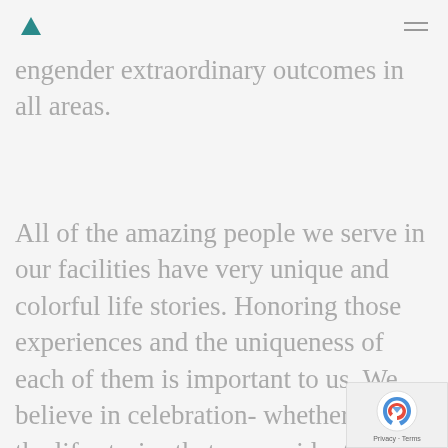[Logo: teal triangle] [Hamburger menu]
engender extraordinary outcomes in all areas.
All of the amazing people we serve in our facilities have very unique and colorful life stories. Honoring those experiences and the uniqueness of each of them is important to us. We believe in celebration- whether it is the life stories that our residents continue to write or the small accomplishments our team does to enhance the lives of the ones we are entrusted to serve, we passionately